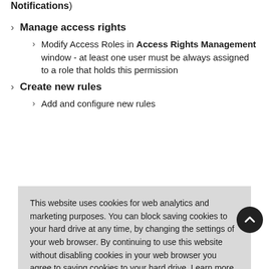Notifications)
Manage access rights
Modify Access Roles in Access Rights Management window - at least one user must be always assigned to a role that holds this permission
Create new rules
Add and configure new rules
This website uses cookies for web analytics and marketing purposes. You can block saving cookies to your hard drive at any time, by changing the settings of your web browser. By continuing to use this website without disabling cookies in your web browser you agree to saving cookies to your hard drive. Learn more in our Privacy Policy.
Edit content of Conditions and Exceptions